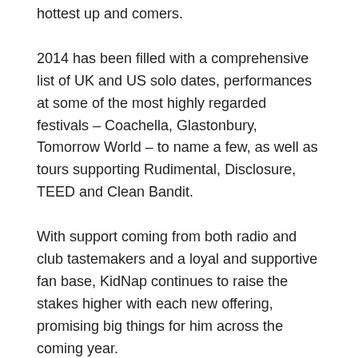hottest up and comers.
2014 has been filled with a comprehensive list of UK and US solo dates, performances at some of the most highly regarded festivals – Coachella, Glastonbury, Tomorrow World – to name a few, as well as tours supporting Rudimental, Disclosure, TEED and Clean Bandit.
With support coming from both radio and club tastemakers and a loyal and supportive fan base, KidNap continues to raise the stakes higher with each new offering, promising big things for him across the coming year.
Twitter: @KidNapMusic
Instagram: @KidNapMusic
Facebook: @KidNapMusic [truncated]